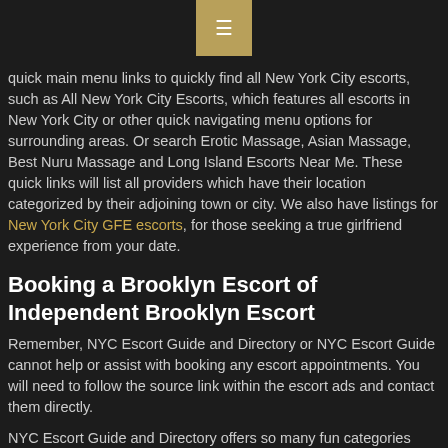quick main menu links to quickly find all New York City escorts, such as All New York City Escorts, which features all escorts in New York City or other quick navigating menu options for surrounding areas. Or search Erotic Massage, Asian Massage, Best Nuru Massage and Long Island Escorts Near Me. These quick links will list all providers which have their location categorized by their adjoining town or city. We also have listings for New York City GFE escorts, for those seeking a true girlfriend experience from your date.
Booking a Brooklyn Escort of Independent Brooklyn Escort
Remember, NYC Escort Guide and Directory or NYC Escort Guide cannot help or assist with booking any escort appointments. You will need to follow the source link within the escort ads and contact them directly.
NYC Escort Guide and Directory offers so many fun categories such as VIP New York City escorts or more budget friendly New York City escort service provider, Cheap New York City escorts.
Again, these amazing New York City and Bronx female escorts will